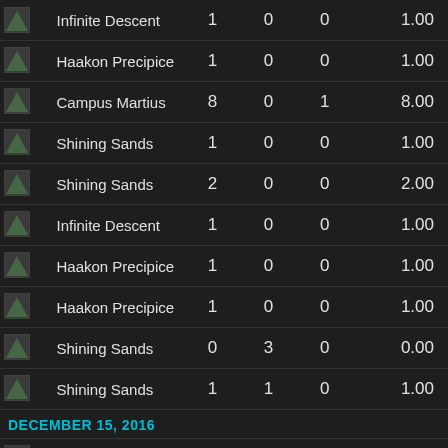| Map | Name | Col1 | Col2 | Col3 | Score |
| --- | --- | --- | --- | --- | --- |
| [icon] | Infinite Descent | 1 | 0 | 0 | 1.00 |
| [icon] | Haakon Precipice | 1 | 0 | 0 | 1.00 |
| [icon] | Campus Martius | 8 | 0 | 1 | 8.00 |
| [icon] | Shining Sands | 1 | 0 | 0 | 1.00 |
| [icon] | Shining Sands | 2 | 0 | 0 | 2.00 |
| [icon] | Infinite Descent | 1 | 0 | 0 | 1.00 |
| [icon] | Haakon Precipice | 1 | 0 | 0 | 1.00 |
| [icon] | Haakon Precipice | 1 | 0 | 0 | 1.00 |
| [icon] | Shining Sands | 0 | 3 | 0 | 0.00 |
| [icon] | Shining Sands | 1 | 1 | 0 | 1.00 |
| DECEMBER 15, 2016 |
| [icon] | Campus Martius | 1 | 0 | 0 | 1.00 |
| [icon] | Haakon Precipice | 1 | 0 | 0 | 1.00 |
| [icon] | Haakon Precipice | 1 | 0 | 0 | 1.00 |